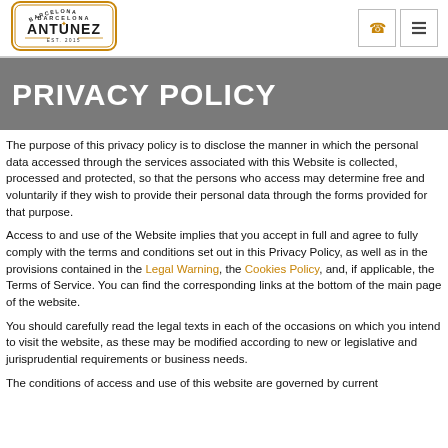[Figure (logo): Antunez Barcelona Est. 2015 logo with ornamental border]
PRIVACY POLICY
The purpose of this privacy policy is to disclose the manner in which the personal data accessed through the services associated with this Website is collected, processed and protected, so that the persons who access may determine free and voluntarily if they wish to provide their personal data through the forms provided for that purpose.
Access to and use of the Website implies that you accept in full and agree to fully comply with the terms and conditions set out in this Privacy Policy, as well as in the provisions contained in the Legal Warning, the Cookies Policy, and, if applicable, the Terms of Service. You can find the corresponding links at the bottom of the main page of the website.
You should carefully read the legal texts in each of the occasions on which you intend to visit the website, as these may be modified according to new or legislative and jurisprudential requirements or business needs.
The conditions of access and use of this website are governed by current